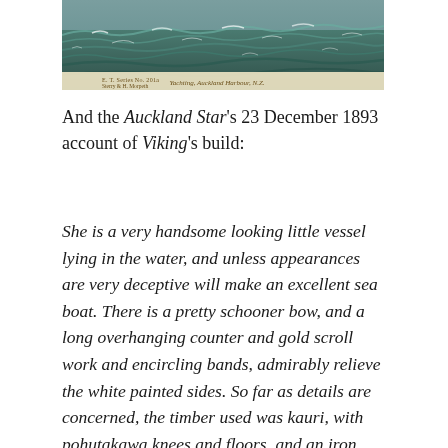[Figure (photo): Vintage postcard photograph of yachting on Auckland Harbour, New Zealand, showing rough choppy water with a sailing vessel. Caption reads: 'Yachting, Auckland Harbour, N.Z.']
And the Auckland Star's 23 December 1893 account of Viking's build:
She is a very handsome looking little vessel lying in the water, and unless appearances are very deceptive will make an excellent sea boat. There is a pretty schooner bow, and a long overhanging counter and gold scroll work and encircling bands, admirably relieve the white painted sides. So far as details are concerned, the timber used was kauri, with pohutakawa knees and floors, and an iron bark stem and rudder post. She is diagonally built of three thicknesses, and is copper fastened throughout and coppered. She is 46 feet on the water line, 67 feet over